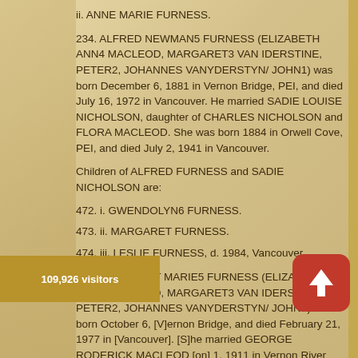ii. ANNE MARIE FURNESS.
234. ALFRED NEWMAN5 FURNESS (ELIZABETH ANN4 MACLEOD, MARGARET3 VAN IDERSTINE, PETER2, JOHANNES VANYDERSTYN/ JOHN1) was born December 6, 1881 in Vernon Bridge, PEI, and died July 16, 1972 in Vancouver. He married SADIE LOUISE NICHOLSON, daughter of CHARLES NICHOLSON and FLORA MACLEOD. She was born 1884 in Orwell Cove, PEI, and died July 2, 1941 in Vancouver.
Children of ALFRED FURNESS and SADIE NICHOLSON are:
472. i. GWENDOLYN6 FURNESS.
473. ii. MARGARET FURNESS.
474. iii. LESLIE FURNESS, d. 1984, Vancouver.
235. MARGARET MARIE5 FURNESS (ELIZABETH ANN4 MACLEOD, MARGARET3 VAN IDERSTINE, PETER2, JOHANNES VANYDERSTYN/ JOHN1) was born October 6, [Vernon Bridge], and died February 21, 1977 in [Vancouver]. [S]he married GEORGE RODERICK MACLEOD [on] 1, 1911 in Vernon River Methodist Church. He [was born] September 30, 1878 in [?], and died August 27, [?].